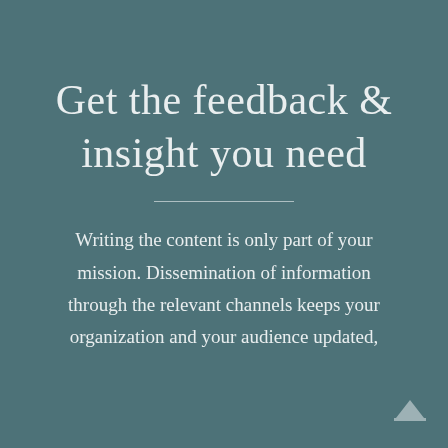Get the feedback & insight you need
Writing the content is only part of your mission. Dissemination of information through the relevant channels keeps your organization and your audience updated,